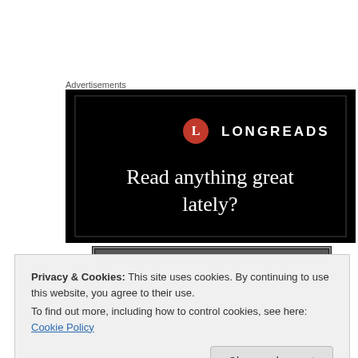Advertisements
[Figure (illustration): Longreads advertisement banner with black background, red circle logo with 'L', 'LONGREADS' text in white, and large serif text 'Read anything great lately?']
[Figure (photo): Black and white photo strip, partially visible, showing what appears to be books or a dark scene]
Privacy & Cookies: This site uses cookies. By continuing to use this website, you agree to their use.
To find out more, including how to control cookies, see here: Cookie Policy
Close and accept